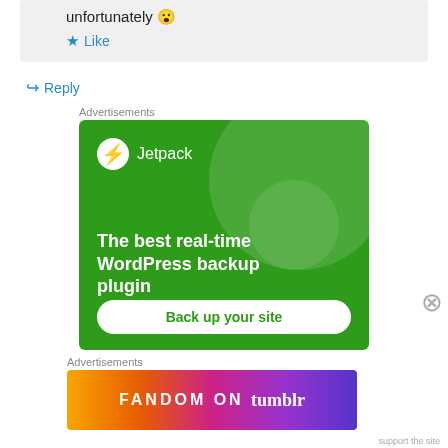unfortunately 😮
★ Like
↪ Reply
Advertisements
[Figure (illustration): Jetpack WordPress plugin advertisement. Green background with circular design elements. Logo showing Jetpack brand. Text reads: The best real-time WordPress backup plugin. Button: Back up your site.]
Advertisements
[Figure (illustration): Fandom on Tumblr advertisement banner. Colorful gradient background from orange to purple. Text: FANDOM ON tumblr]